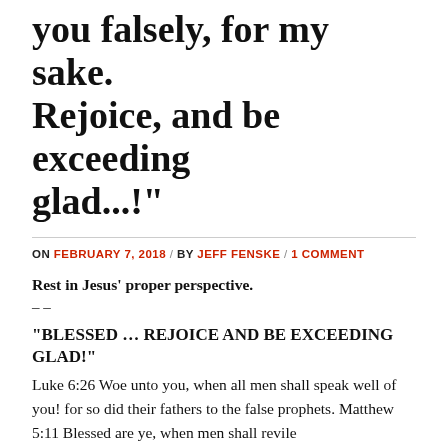you falsely, for my sake. Rejoice, and be exceeding glad...!"
ON FEBRUARY 7, 2018 / BY JEFF FENSKE / 1 COMMENT
Rest in Jesus' proper perspective.
– –
“BLESSED … REJOICE AND BE EXCEEDING GLAD!”
Luke 6:26 Woe unto you, when all men shall speak well of you! for so did their fathers to the false prophets. Matthew 5:11 Blessed are ye, when men shall revile